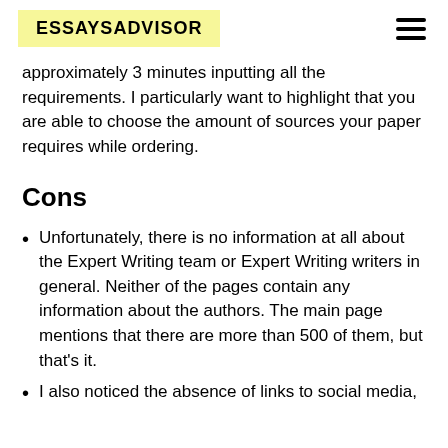ESSAYSADVISOR
approximately 3 minutes inputting all the requirements. I particularly want to highlight that you are able to choose the amount of sources your paper requires while ordering.
Cons
Unfortunately, there is no information at all about the Expert Writing team or Expert Writing writers in general. Neither of the pages contain any information about the authors. The main page mentions that there are more than 500 of them, but that's it.
I also noticed the absence of links to social media,